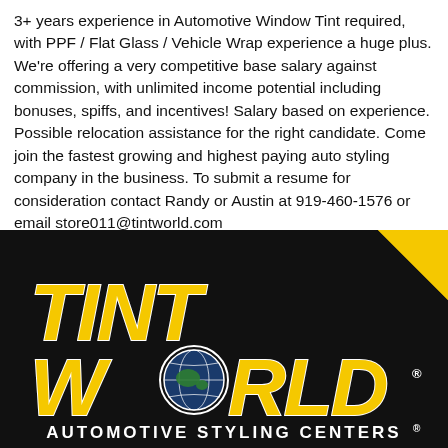3+ years experience in Automotive Window Tint required, with PPF / Flat Glass / Vehicle Wrap experience a huge plus. We're offering a very competitive base salary against commission, with unlimited income potential including bonuses, spiffs, and incentives! Salary based on experience. Possible relocation assistance for the right candidate. Come join the fastest growing and highest paying auto styling company in the business. To submit a resume for consideration contact Randy or Austin at 919-460-1576 or email store011@tintworld.com
[Figure (logo): Tint World Automotive Styling Centers logo on black background with yellow block lettering and a globe in the 'O' of WORLD, registered trademark symbols, and a yellow triangle accent in the top-right corner.]